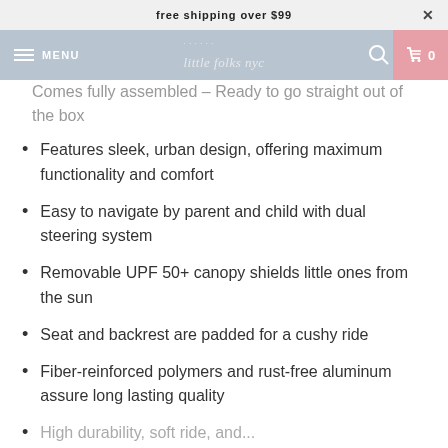free shipping over $99
MENU | little folks nyc | 0
Comes fully assembled – Ready to go straight out of the box
Features sleek, urban design, offering maximum functionality and comfort
Easy to navigate by parent and child with dual steering system
Removable UPF 50+ canopy shields little ones from the sun
Seat and backrest are padded for a cushy ride
Fiber-reinforced polymers and rust-free aluminum assure long lasting quality
High durability, soft ride, and...